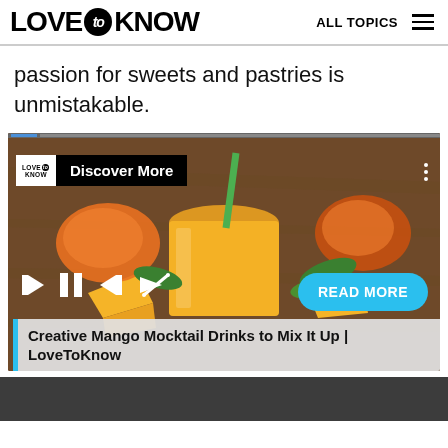LOVE to KNOW | ALL TOPICS
passion for sweets and pastries is unmistakable.
[Figure (screenshot): Video player showing a mango mocktail drink with player controls, a 'Discover More' badge, 'READ MORE' button, and caption 'Creative Mango Mocktail Drinks to Mix It Up | LoveToKnow']